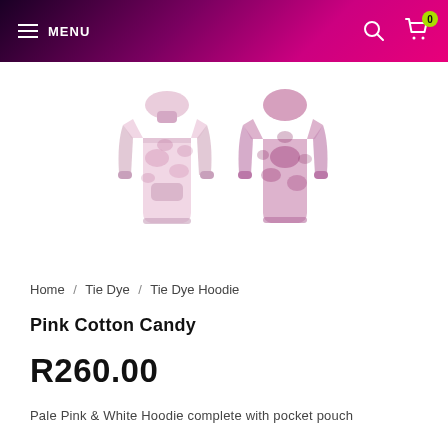MENU
[Figure (photo): Two views of a Pink Cotton Candy tie-dye hoodie — front view and back view. The hoodies show a pale pink and white tie-dye pattern.]
Home / Tie Dye / Tie Dye Hoodie
Pink Cotton Candy
R260.00
Pale Pink & White Hoodie complete with pocket pouch